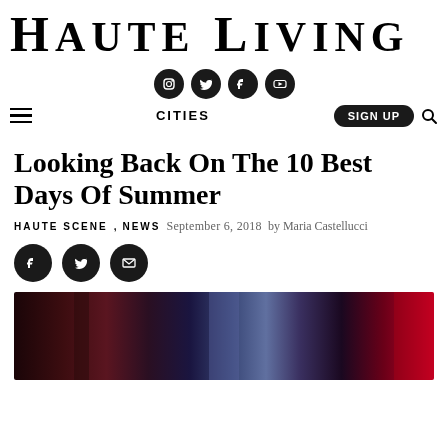Haute Living
[Figure (infographic): Four circular social media icons: Instagram, Twitter, Facebook, YouTube — dark filled circles with white icons]
≡  CITIES  SIGN UP 🔍
Looking Back On The 10 Best Days Of Summer
HAUTE SCENE, NEWS  September 6, 2018  by Maria Castellucci
[Figure (infographic): Three circular social share icons: Facebook, Twitter, Email — dark filled circles with white icons]
[Figure (photo): Dark atmospheric photo with red, blue, and purple lighting effects — appears to be an event or nightlife scene]